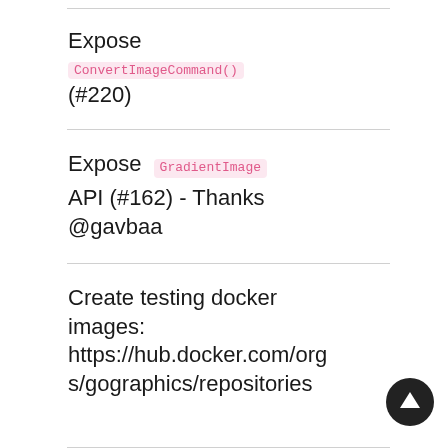Expose ConvertImageCommand() (#220)
Expose GradientImage API (#162) - Thanks @gavbaa
Create testing docker images: https://hub.docker.com/orgs/gographics/repositories